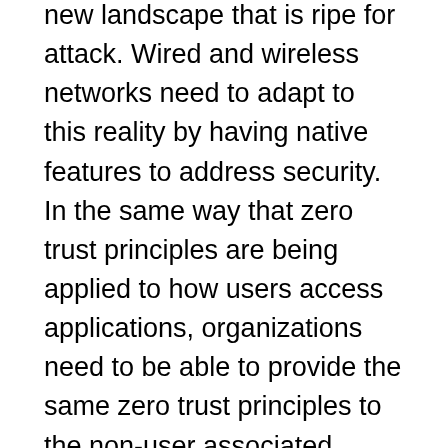new landscape that is ripe for attack. Wired and wireless networks need to adapt to this reality by having native features to address security. In the same way that zero trust principles are being applied to how users access applications, organizations need to be able to provide the same zero trust principles to the non-user associated devices.
The zero-trust security model is based on the principle that every device or user is potentially compromised, so every access request must be authorized. When the zero-trust approach is applied to corporate campus networks (Ethernet and Wi-Fi) it often works in concert with network access control (NAC) solutions, which ensure that only devices that should attach to the network do. However, this can lead to complexity.